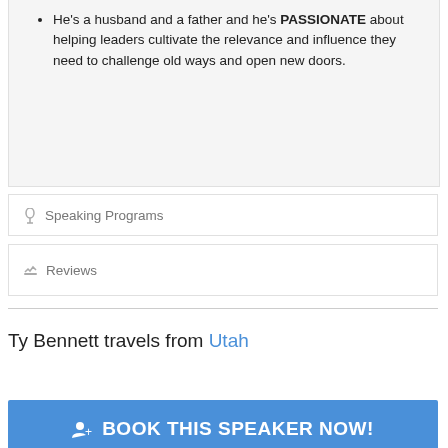He's a husband and a father and he's PASSIONATE about helping leaders cultivate the relevance and influence they need to challenge old ways and open new doors.
Speaking Programs
Reviews
Ty Bennett travels from Utah
BOOK THIS SPEAKER NOW!